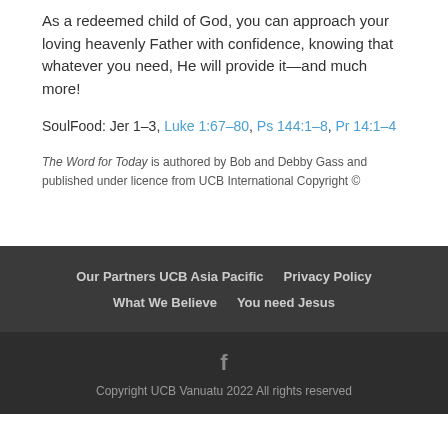As a redeemed child of God, you can approach your loving heavenly Father with confidence, knowing that whatever you need, He will provide it—and much more!
SoulFood: Jer 1–3, Luke 1:67–80, Ps 144:1–8, Pr 14:1–4
The Word for Today is authored by Bob and Debby Gass and published under licence from UCB International Copyright ©
Our Partners UCB Asia Pacific  Privacy Policy  What We Believe  You need Jesus
Copyright UCB Vanuatu 2022 All rights reserved